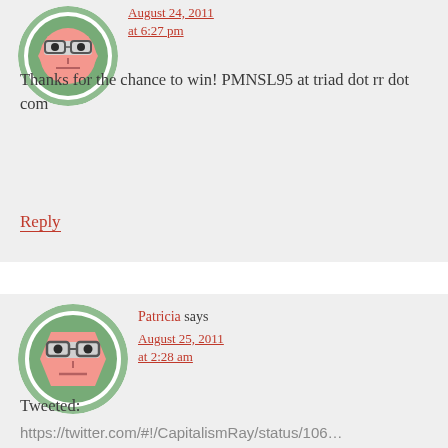[Figure (illustration): Avatar image: cartoon face with glasses, salmon/orange skin tone, on green circular background]
August 24, 2011 at 6:27 pm
Thanks for the chance to win! PMNSL95 at triad dot rr dot com
Reply
[Figure (illustration): Avatar image: cartoon face with glasses, salmon/orange skin tone, on green circular background]
Patricia says
August 25, 2011 at 2:28 am
Tweeted:
https://twitter.com/#!/CapitalismRay/status/106...